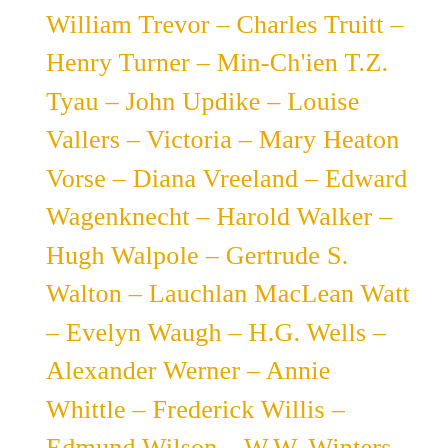William Trevor – Charles Truitt – Henry Turner – Min-Ch'ien T.Z. Tyau – John Updike – Louise Vallers – Victoria – Mary Heaton Vorse – Diana Vreeland – Edward Wagenknecht – Harold Walker – Hugh Walpole – Gertrude S. Walton – Lauchlan MacLean Watt – Evelyn Waugh – H.G. Wells – Alexander Werner – Annie Whittle – Frederick Willis – Edmund Wilson – W.W. Winters – Richard Wollheim – Leslie Wood – John W. Woodhead – Virginia Woolf – Steve WoolleyFrederick Thompson Wright – John Wyver –